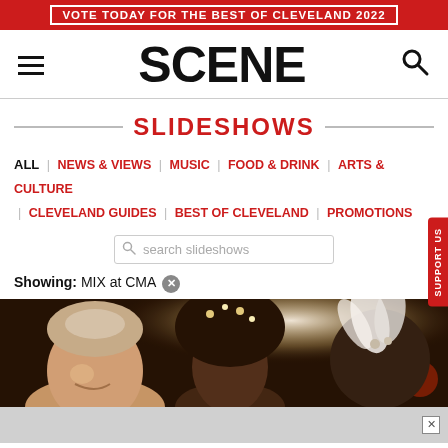VOTE TODAY FOR THE BEST OF CLEVELAND 2022
SCENE
SLIDESHOWS
ALL | NEWS & VIEWS | MUSIC | FOOD & DRINK | ARTS & CULTURE | CLEVELAND GUIDES | BEST OF CLEVELAND | PROMOTIONS
search slideshows
Showing: MIX at CMA ⊗
[Figure (photo): Photo of people at a party/event, including a smiling man and people wearing festive accessories like feathers and sparkly headpieces]
Advertisement close button